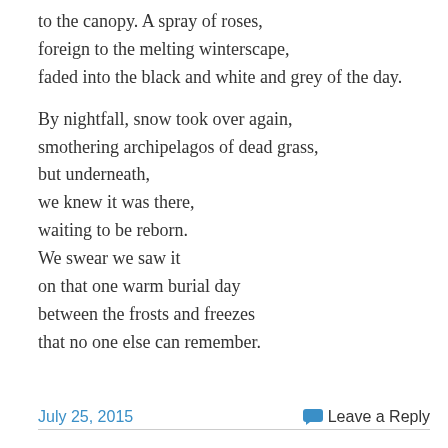to the canopy. A spray of roses,
foreign to the melting winterscape,
faded into the black and white and grey of the day.

By nightfall, snow took over again,
smothering archipelagos of dead grass,
but underneath,
we knew it was there,
waiting to be reborn.
We swear we saw it
on that one warm burial day
between the frosts and freezes
that no one else can remember.
July 25, 2015   Leave a Reply